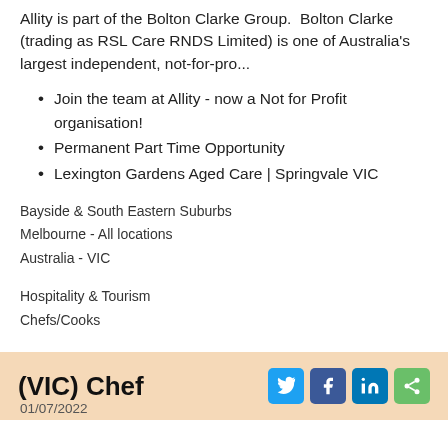Allity is part of the Bolton Clarke Group. Bolton Clarke (trading as RSL Care RNDS Limited) is one of Australia's largest independent, not-for-pro...
Join the team at Allity - now a Not for Profit organisation!
Permanent Part Time Opportunity
Lexington Gardens Aged Care | Springvale VIC
Bayside & South Eastern Suburbs
Melbourne - All locations
Australia - VIC
Hospitality & Tourism
Chefs/Cooks
(VIC) Chef
01/07/2022